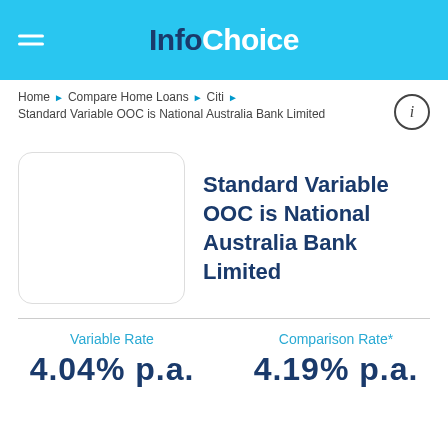InfoChoice
Home ▶ Compare Home Loans ▶ Citi ▶ Standard Variable OOC is National Australia Bank Limited
Standard Variable OOC is National Australia Bank Limited
Variable Rate
4.04% p.a.
Comparison Rate*
4.19% p.a.